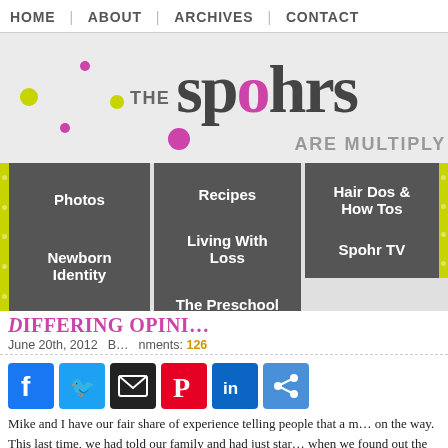HOME | ABOUT | ARCHIVES | CONTACT
[Figure (logo): The Spohrs Are Multiply blog logo with colorful dots and stylized text]
[Figure (screenshot): Navigation dropdown menu showing: Photos, Newborn Identity, Recipes, Living With Loss, The Preschool Photos, Hair Dos & How Tos, Spohr TV]
DIFFERING OPINI...
June 20th, 2012   ...nments: 126
[Figure (infographic): Social sharing icons: Facebook, Twitter, Email, Pinterest, LinkedIn, Share]
Mike and I have our fair share of experience telling people that a m... on the way. This last time, we had told our family and had just star... when we found out the baby miscarried. But that's not the point o...